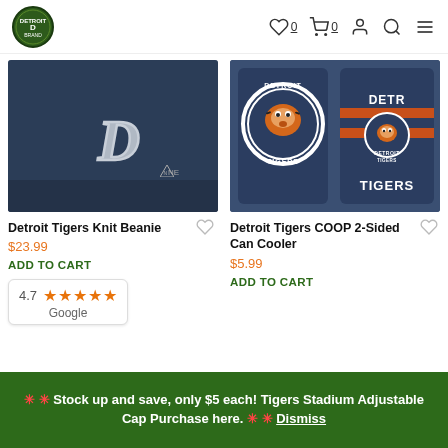Detroit Tigers store header with logo, wishlist (0), cart (0), account, search, and menu icons
[Figure (photo): Detroit Tigers navy knit beanie with white Old English D logo and New Era logo]
[Figure (photo): Detroit Tigers COOP 2-Sided Can Cooler showing front and back with Detroit Tigers tiger logo in navy, orange and white]
Detroit Tigers Knit Beanie
$23.99
ADD TO CART
Detroit Tigers COOP 2-Sided Can Cooler
$5.99
ADD TO CART
4.7 ★★★★★ Google
🌟 🌟 Stock up and save, only $5 each! Tigers Stadium Adjustable Cap Purchase here. 🌟 🌟 Dismiss